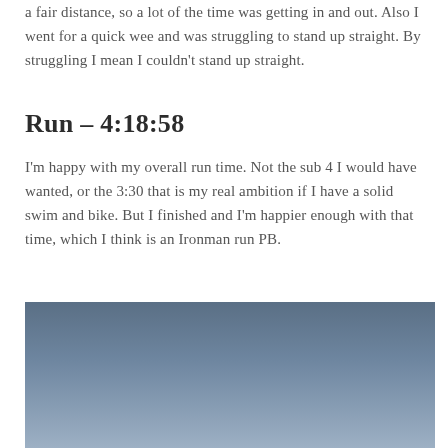a fair distance, so a lot of the time was getting in and out. Also I went for a quick wee and was struggling to stand up straight. By struggling I mean I couldn't stand up straight.
Run – 4:18:58
I'm happy with my overall run time. Not the sub 4 I would have wanted, or the 3:30 that is my real ambition if I have a solid swim and bike. But I finished and I'm happier enough with that time, which I think is an Ironman run PB.
[Figure (photo): A photo showing a blue-grey sky gradient, darker at the top and lighter towards the bottom, suggesting an outdoor scene.]